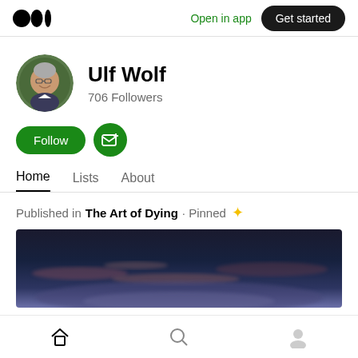Medium logo | Open in app | Get started
[Figure (photo): Circular avatar photo of Ulf Wolf, an older man with glasses smiling, green foliage background]
Ulf Wolf
706 Followers
Follow | Subscribe (email icon)
Home   Lists   About
Published in The Art of Dying · Pinned ✦
[Figure (photo): Dark panoramic sky photo with subtle clouds, appears to be twilight or early morning sky]
Home | Search | Profile navigation icons